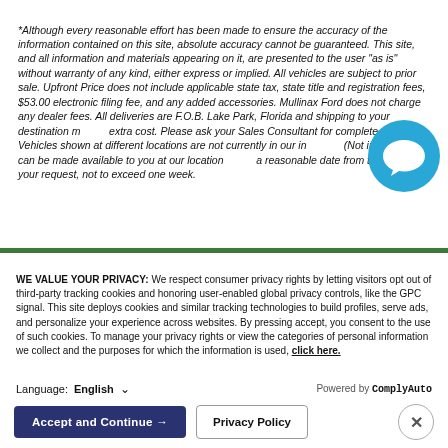*Although every reasonable effort has been made to ensure the accuracy of the information contained on this site, absolute accuracy cannot be guaranteed. This site, and all information and materials appearing on it, are presented to the user "as is" without warranty of any kind, either express or implied. All vehicles are subject to prior sale. Upfront Price does not include applicable state tax, state title and registration fees, $53.00 electronic filing fee, and any added accessories. Mullinax Ford does not charge any dealer fees. All deliveries are F.O.B. Lake Park, Florida and shipping to your destination may be extra cost. Please ask your Sales Consultant for complete details. Vehicles shown at different locations are not currently in our inventory (Not in Stock) but can be made available to you at our location within a reasonable date from the time of your request, not to exceed one week.
WE VALUE YOUR PRIVACY: We respect consumer privacy rights by letting visitors opt out of third-party tracking cookies and honoring user-enabled global privacy controls, like the GPC signal. This site deploys cookies and similar tracking technologies to build profiles, serve ads, and personalize your experience across websites. By pressing accept, you consent to the use of such cookies. To manage your privacy rights or view the categories of personal information we collect and the purposes for which the information is used, click here.
Language:   English   Powered by ComplyAuto